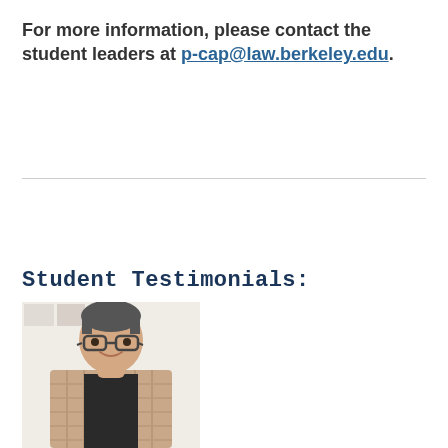For more information, please contact the student leaders at p-cap@law.berkeley.edu.
Student Testimonials:
[Figure (photo): Photo of a person with short hair and glasses, wearing a black shirt and plaid jacket, standing and smiling in front of a white wall with some pictures/posters.]